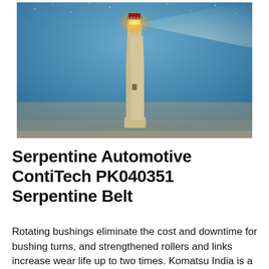[Figure (photo): Tall white lighthouse photographed from below against a twilight blue sky with stars. The lighthouse is illuminated by a bright golden light at the top with a red roof. The tower is cylindrical and cream/beige colored.]
Serpentine Automotive ContiTech PK040351 Serpentine Belt
Rotating bushings eliminate the cost and downtime for bushing turns, and strengthened rollers and links increase wear life up to two times. Komatsu India is a leading brand, manufactures various construction